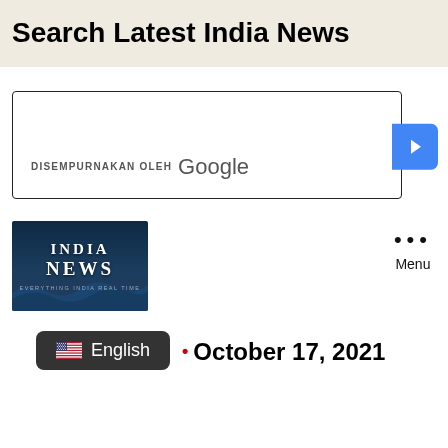Search Latest India News
[Figure (screenshot): Google Custom Search box with text 'DISEMPURNAKAN OLEH Google' and a blue search button on the right]
[Figure (photo): India News logo image with ocean waves background and text INDIA NEWS]
Menu
English
October 17, 2021